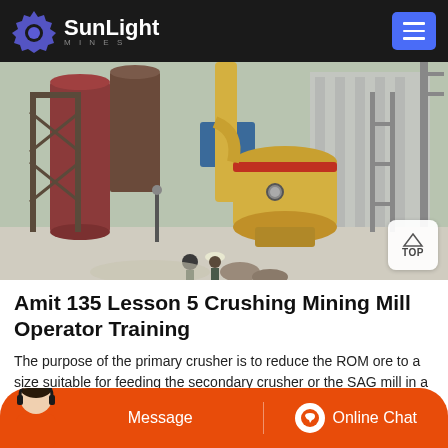SunLight
[Figure (photo): Industrial mining/milling facility with large yellow grinding mill, red cylindrical silos, scaffolding, and workers in the foreground. Outdoor industrial plant setting.]
Amit 135 Lesson 5 Crushing Mining Mill Operator Training
The purpose of the primary crusher is to reduce the ROM ore to a size suitable for feeding the secondary crusher or the SAG mill in a lig...